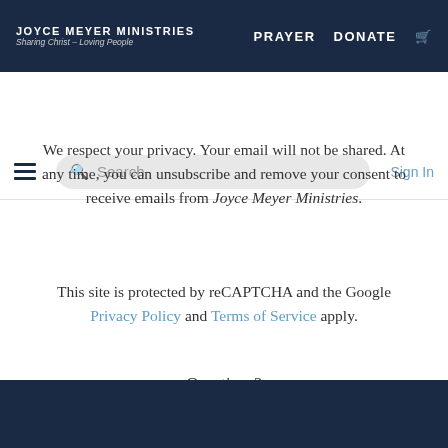JOYCE MEYER MINISTRIES Sharing Christ – Loving People | PRAYER | DONATE
[Figure (screenshot): Navigation search bar with hamburger menu, search input field, and Sign In link]
We respect your privacy. Your email will not be shared. At any time, you can unsubscribe and remove your consent to receive emails from Joyce Meyer Ministries.
This site is protected by reCAPTCHA and the Google Privacy Policy and Terms of Service apply.
Questions?
Email us at contactus@joycemeyer.org